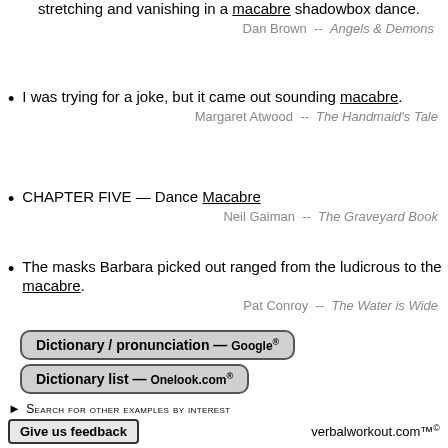stretching and vanishing in a macabre shadowbox dance.
Dan Brown  --  Angels & Demons
I was trying for a joke, but it came out sounding macabre.
Margaret Atwood  --  The Handmaid's Tale
CHAPTER FIVE — Dance Macabre
Neil Gaiman  --  The Graveyard Book
The masks Barbara picked out ranged from the ludicrous to the macabre.
Pat Conroy  --  The Water is Wide
Dictionary / pronunciation — Google®
Dictionary list — Onelook.com®
Search for other examples by interest
Give us feedback
verbalworkout.com™©